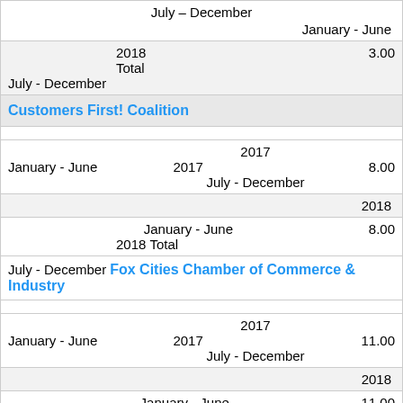| Organization/Year/Period | Value |
| --- | --- |
| July - December |  |
| January - June |  |
| 2018 Total | 3.00 |
| July - December |  |
| Customers First! Coalition |  |
| 2017 |  |
| January - June 2017 July - December | 8.00 |
| 2018 |  |
| January - June | 8.00 |
| 2018 Total |  |
| July - December Fox Cities Chamber of Commerce & Industry |  |
| 2017 |  |
| January - June 2017 July - December | 11.00 |
| 2018 |  |
| January - June | 11.00 |
| 2018 Total |  |